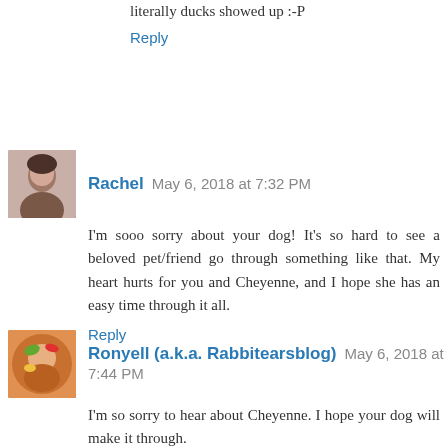literally ducks showed up :-P
Reply
Rachel  May 6, 2018 at 7:32 PM
I'm sooo sorry about your dog! It's so hard to see a beloved pet/friend go through something like that. My heart hurts for you and Cheyenne, and I hope she has an easy time through it all.
Reply
Ronyell (a.k.a. Rabbitearsblog)  May 6, 2018 at 7:44 PM
I'm so sorry to hear about Cheyenne. I hope your dog will make it through.
Here's my Sunday Post!
Ronyell @ Rabbit Ears Book Blog and join in this week's Book Photo Sundays